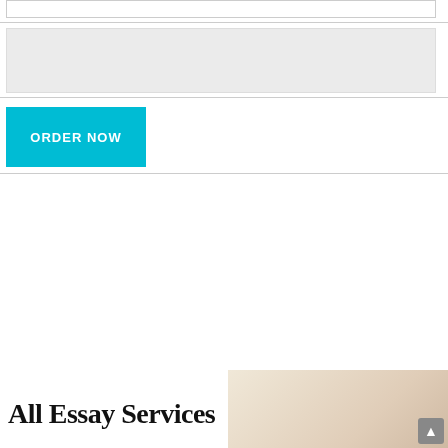[Figure (screenshot): Top input form area with a white input box, a gray textarea, and a cyan ORDER NOW button]
[Figure (infographic): All Essay Services advertisement banner showing 20% OFF special offer, use code best20, with a woman giving thumbs up and a Live Support Online chat button]